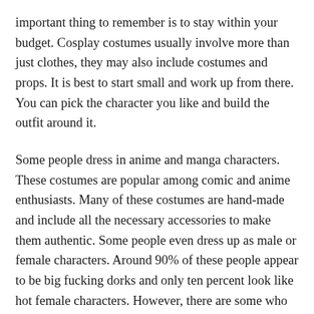important thing to remember is to stay within your budget. Cosplay costumes usually involve more than just clothes, they may also include costumes and props. It is best to start small and work up from there. You can pick the character you like and build the outfit around it.
Some people dress in anime and manga characters. These costumes are popular among comic and anime enthusiasts. Many of these costumes are hand-made and include all the necessary accessories to make them authentic. Some people even dress up as male or female characters. Around 90% of these people appear to be big fucking dorks and only ten percent look like hot female characters. However, there are some who make costumes for fun, and these are also considered cosplay costumes.
A costume inspired by the character's appearance in the film